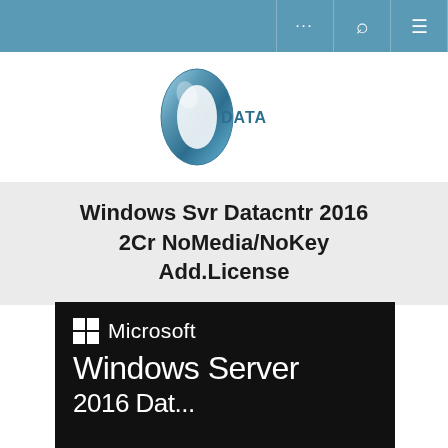... [search] [menu]
[Figure (logo): OData logo — stylized blue metallic '0' with 'DATA' text beside it]
Windows Svr Datacntr 2016 2Cr NoMedia/NoKey Add.License
[Figure (photo): Black product image showing Microsoft Windows Server 2016 Datacenter branding with Microsoft logo (white Windows flag and Microsoft wordmark) and large text 'Windows Server' and '2016 Dat...' at the bottom]